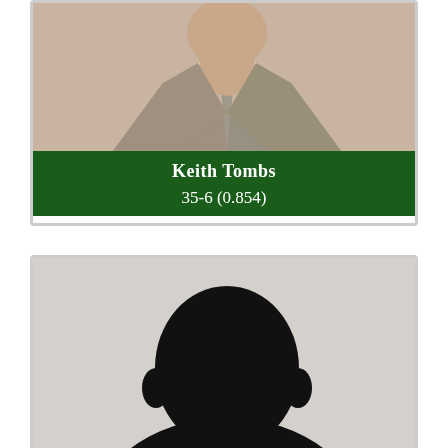[Figure (photo): Headshot photo of Keith Tombs, a man in a grey suit with a tie, cropped to show neck and upper chest area]
Keith Tombs
35-6 (0.854)
[Figure (photo): Silhouette/shadow photo of an unidentified person against a light grey background, head and shoulders visible]